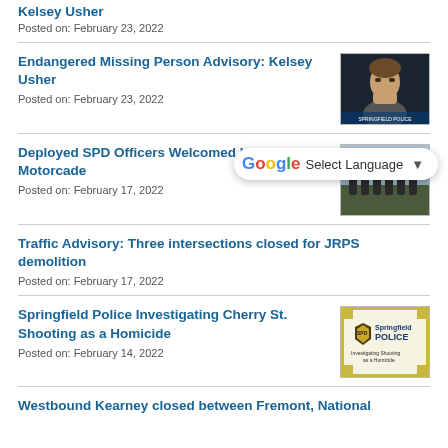Kelsey Usher
Posted on: February 23, 2022
Endangered Missing Person Advisory: Kelsey Usher
Posted on: February 23, 2022
[Figure (photo): Headshot photo of Kelsey Usher against dark background with police watermark]
Deployed SPD Officers Welcomed Home by Motorcade
Posted on: February 17, 2022
[Figure (photo): Outdoor photo showing people in a motorcade scene]
Traffic Advisory: Three intersections closed for JRPS demolition
Posted on: February 17, 2022
Springfield Police Investigating Cherry St. Shooting as a Homicide
Posted on: February 14, 2022
[Figure (logo): Springfield Police logo with text: Investigating Shooting as a Homicide]
Westbound Kearney closed between Fremont, National